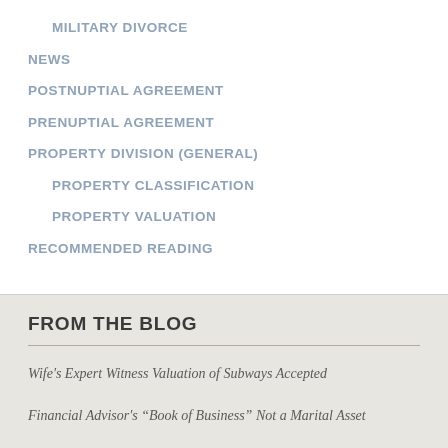MILITARY DIVORCE
NEWS
POSTNUPTIAL AGREEMENT
PRENUPTIAL AGREEMENT
PROPERTY DIVISION (GENERAL)
PROPERTY CLASSIFICATION
PROPERTY VALUATION
RECOMMENDED READING
FROM THE BLOG
Wife's Expert Witness Valuation of Subways Accepted
Financial Advisor's “Book of Business” Not a Marital Asset